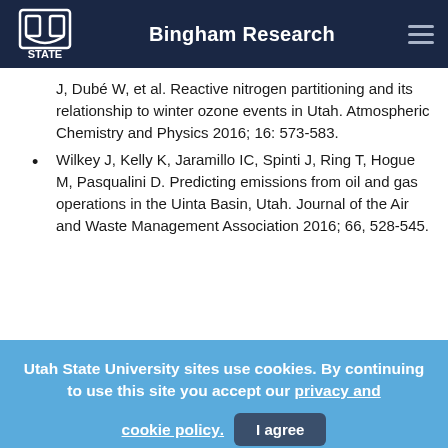Bingham Research
J, Dubé W, et al. Reactive nitrogen partitioning and its relationship to winter ozone events in Utah. Atmospheric Chemistry and Physics 2016; 16: 573-583.
Wilkey J, Kelly K, Jaramillo IC, Spinti J, Ring T, Hogue M, Pasqualini D. Predicting emissions from oil and gas operations in the Uinta Basin, Utah. Journal of the Air and Waste Management Association 2016; 66, 528-545.
Utah State University sites use cookies. By continuing to use this site you accept our privacy and cookie policy.